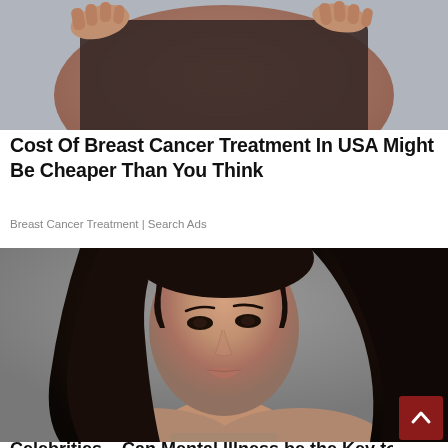[Figure (photo): Close-up of a torso wearing a dark ribbed compression garment or bra, with hands visible at the top edges, against a light gray background.]
Cost Of Breast Cancer Treatment In USA Might Be Cheaper Than You Think
Breast Cancer Treatment | Search Ads
[Figure (photo): Portrait photo of a dark-haired woman with long wavy hair, looking upward, against a gray background.]
Celebrities – Can Mental Illness be the Key to